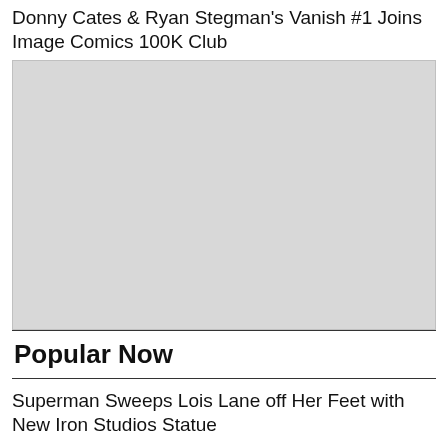Donny Cates & Ryan Stegman's Vanish #1 Joins Image Comics 100K Club
[Figure (photo): Large grey placeholder image block]
Popular Now
Superman Sweeps Lois Lane off Her Feet with New Iron Studios Statue
Quantic Dream Has Been Acquired By NetEase Games